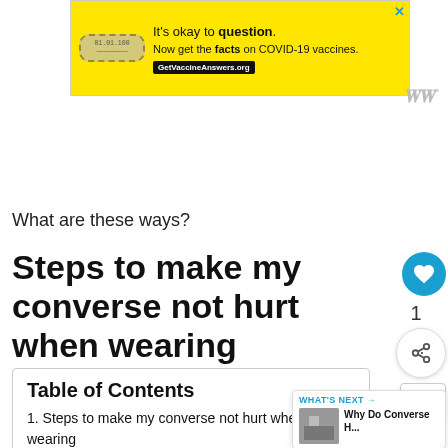[Figure (screenshot): Yellow advertisement banner: 'It's okay to question. Now get the facts on COVID-19 vaccines. GetVaccineAnswers.org' with a stamp/seal icon and close X button]
What are these ways?
Steps to make my converse not hurt when wearing
| Table of Contents |
| --- |
| 1. Steps to make my converse not hurt when wearing |
| 1.1. Putting on thick socks |